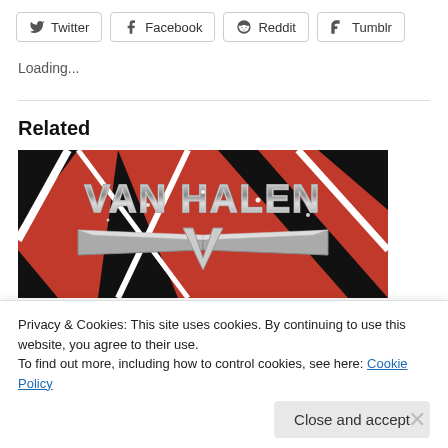[Figure (screenshot): Social share buttons: Twitter, Facebook, Reddit, Tumblr]
Loading...
Related
[Figure (photo): Van Halen logo on red and black striped background]
Privacy & Cookies: This site uses cookies. By continuing to use this website, you agree to their use. To find out more, including how to control cookies, see here: Cookie Policy
Close and accept